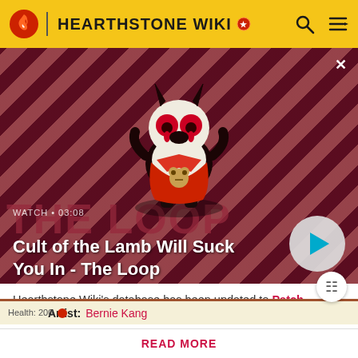HEARTHSTONE WIKI
[Figure (screenshot): Video thumbnail for 'Cult of the Lamb Will Suck You In - The Loop' showing a cartoon lamb character with red eyes on a dark red diagonal striped background. Overlay shows WATCH • 03:08 and a play button.]
WATCH • 03:08
Cult of the Lamb Will Suck You In - The Loop
Artist: Bernie Kang
Hearthstone Wiki's database has been updated to Patch 24.0.3.147348!
READ MORE